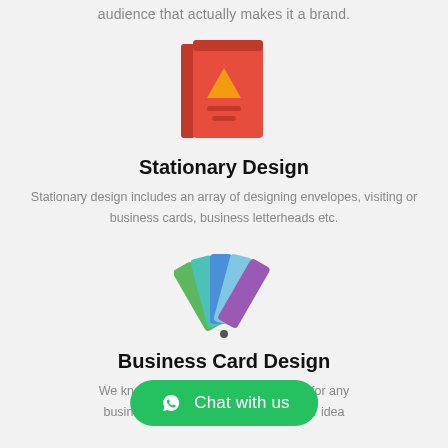audience that actually makes it a brand.
[Figure (illustration): Red book icon with orange mountain/triangle symbol on cover and two horizontal lines at bottom]
Stationary Design
Stationary design includes an array of designing envelopes, visiting or business cards, business letterheads etc.
[Figure (illustration): Color swatches / fan of color cards in green, teal, blue, light blue, and purple]
Business Card Design
We know the importance of a business card for any business perso... ...ents a fair idea
[Figure (other): Green Chat with us WhatsApp button overlay]